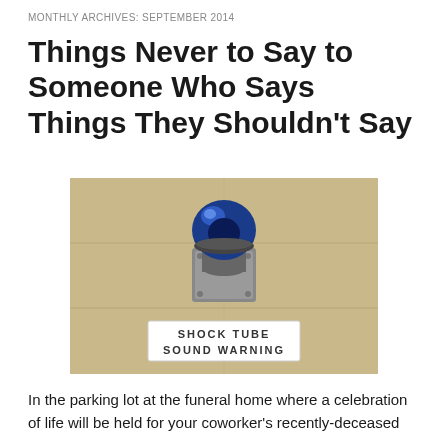MONTHLY ARCHIVES: SEPTEMBER 2014
Things Never to Say to Someone Who Says Things They Shouldn't Say
[Figure (photo): A blue emergency/warning strobe light mounted on a beige wall above a white sign reading 'SHOCK TUBE SOUND WARNING']
In the parking lot at the funeral home where a celebration of life will be held for your coworker's recently-deceased